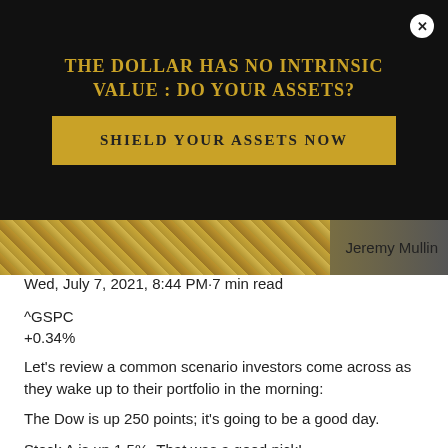[Figure (infographic): Black background ad overlay with gold text title 'THE DOLLAR HAS NO INTRINSIC VALUE : DO YOUR ASSETS?' and a gold button 'SHIELD YOUR ASSETS NOW' with a white close button in top right corner]
[Figure (photo): Strip of gold coins image with 'Jeremy Mullin' text on the right]
Wed, July 7, 2021, 8:44 PM·7 min read
^GSPC
+0.34%
Let's review a common scenario investors come across as they wake up to their portfolio in the morning:
The Dow is up 250 points; it's going to be a good day.
Stock A is up 1.5%. That was a good pick!
Stock B is up 2.3%. What a beast!
Stock C is down 10% and falling fast! What the heck???